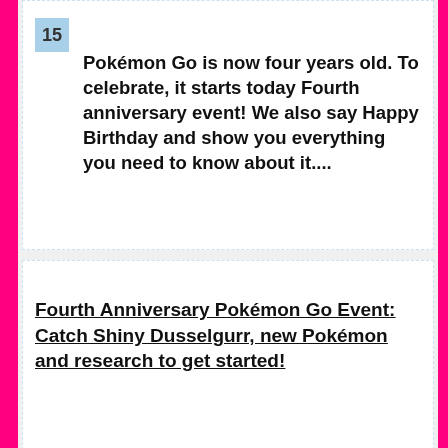Get Started!
Pokémon Go is now four years old. To celebrate, it starts today Fourth anniversary event! We also say Happy Birthday and show you everything you need to know about it....
Fourth Anniversary Pokémon Go Event: Catch Shiny Dusselgurr, new Pokémon and research to get started!